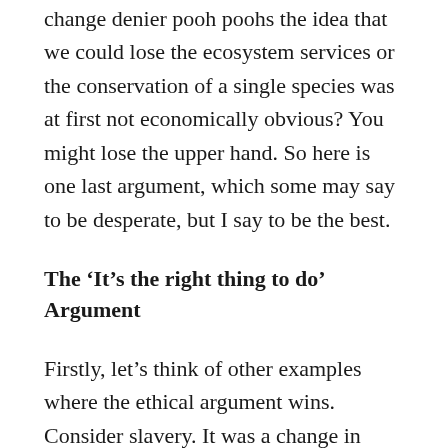change denier pooh poohs the idea that we could lose the ecosystem services or the conservation of a single species was at first not economically obvious? You might lose the upper hand. So here is one last argument, which some may say to be desperate, but I say to be the best.
The 'It's the right thing to do' Argument
Firstly, let's think of other examples where the ethical argument wins. Consider slavery. It was a change in ethics that finally released the literal and proverbial chains from society. It may not have been economically beneficial in the short term, many people lost services they could no longer